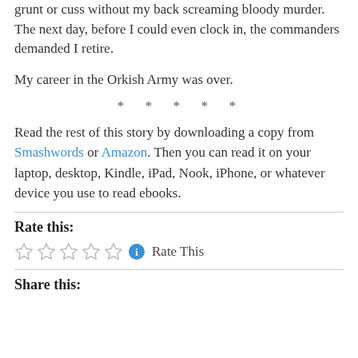grunt or cuss without my back screaming bloody murder. The next day, before I could even clock in, the commanders demanded I retire.
My career in the Orkish Army was over.
* * * * *
Read the rest of this story by downloading a copy from Smashwords or Amazon. Then you can read it on your laptop, desktop, Kindle, iPad, Nook, iPhone, or whatever device you use to read ebooks.
Rate this:
[Figure (other): Five empty star rating widgets followed by an info icon and 'Rate This' text]
Share this: